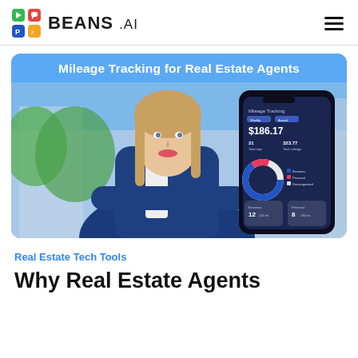BEANS .AI
[Figure (photo): Hero banner with blue background showing 'Mileage Tracking for Real Estate Agents' title, a woman in a blue blazer smiling, and a smartphone showing a mileage tracking app with donut chart.]
Real Estate Tech Tools
Why Real Estate Agents